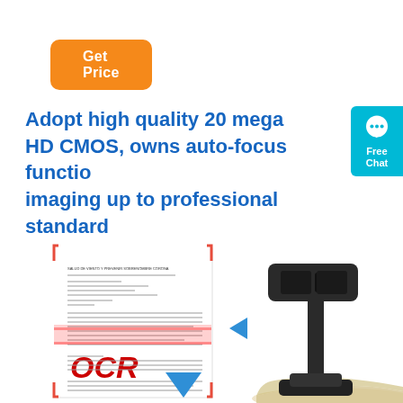[Figure (other): Orange 'Get Price' button]
Adopt high quality 20 mega HD CMOS, owns auto-focus function, imaging up to professional standard
[Figure (other): Teal/cyan Free Chat badge with speech bubble icon]
[Figure (other): Product image showing a document scanner device scanning a document with OCR text visible on the document, a blue left-pointing arrow, and a down-pointing blue arrow at the bottom]
[Figure (photo): Book document camera/scanner product photo showing the device arm over an open book]